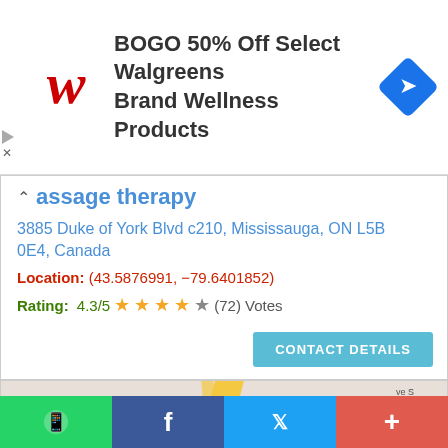[Figure (infographic): Walgreens advertisement banner: BOGO 50% Off Select Walgreens Brand Wellness Products, with Walgreens logo and navigation/map icon]
massage therapy
3885 Duke of York Blvd c210, Mississauga, ON L5B 0E4, Canada
Location: (43.5876991, -79.6401852)
Rating: 4.3/5 ★★★★☆ (72) Votes
[Figure (map): Google Maps view showing Port Credit GO station and The Port House Social Bar & Kitchen in Mississauga]
[Figure (infographic): Social sharing bar with WhatsApp, Facebook, Twitter, and more (+) buttons]